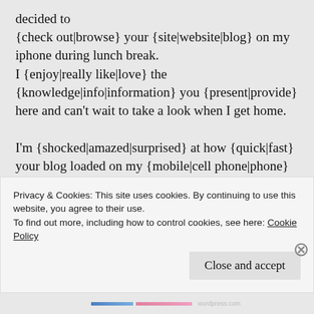decided to {check out|browse} your {site|website|blog} on my iphone during lunch break. I {enjoy|really like|love} the {knowledge|info|information} you {present|provide} here and can't wait to take a look when I get home.

I'm {shocked|amazed|surprised} at how {quick|fast} your blog loaded on my {mobile|cell phone|phone} .. I'm not even using WIFI, just 3G .. {Anyhow|Anyways}, {awesome|amazing|very good|superb|good|wonderful|fantastic|excellent|great}
Privacy & Cookies: This site uses cookies. By continuing to use this website, you agree to their use.
To find out more, including how to control cookies, see here: Cookie Policy
Close and accept